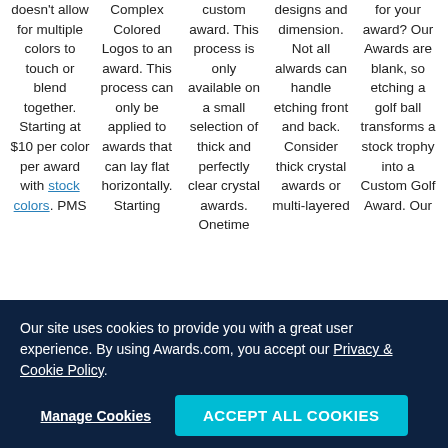doesn't allow for multiple colors to touch or blend together. Starting at $10 per color per award with stock colors. PMS
Complex Colored Logos to an award. This process can only be applied to awards that can lay flat horizontally. Starting
custom award. This process is only available on a small selection of thick and perfectly clear crystal awards. Onetime
designs and dimension. Not all alwards can handle etching front and back. Consider thick crystal awards or multi-layered
for your award? Our Awards are blank, so etching a golf ball transforms a stock trophy into a Custom Golf Award. Our
Our site uses cookies to provide you with a great user experience. By using Awards.com, you accept our Privacy & Cookie Policy.
Manage Cookies
ACCEPT ALL COOKIES